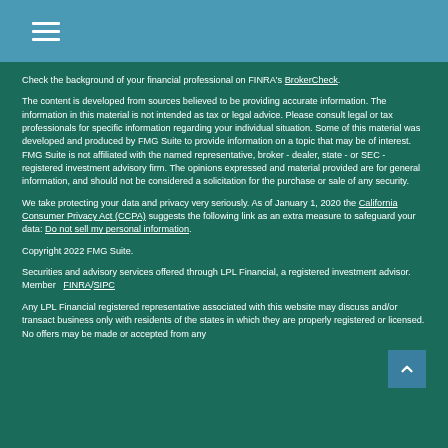Check the background of your financial professional on FINRA's BrokerCheck.
The content is developed from sources believed to be providing accurate information. The information in this material is not intended as tax or legal advice. Please consult legal or tax professionals for specific information regarding your individual situation. Some of this material was developed and produced by FMG Suite to provide information on a topic that may be of interest. FMG Suite is not affiliated with the named representative, broker - dealer, state - or SEC - registered investment advisory firm. The opinions expressed and material provided are for general information, and should not be considered a solicitation for the purchase or sale of any security.
We take protecting your data and privacy very seriously. As of January 1, 2020 the California Consumer Privacy Act (CCPA) suggests the following link as an extra measure to safeguard your data: Do not sell my personal information.
Copyright 2022 FMG Suite.
Securities and advisory services offered through LPL Financial, a registered investment advisor. Member  FINRA/SIPC
Any LPL Financial registered representative associated with this website may discuss and/or transact business only with residents of the states in which they are properly registered or licensed. No offers may be made or accepted from any